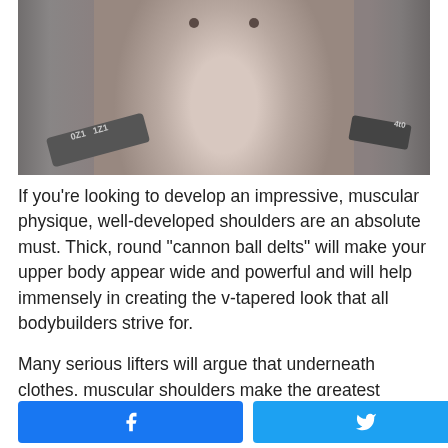[Figure (photo): Black and white photo of a muscular torso in a gym with dumbbells and equipment visible in background]
If you're looking to develop an impressive, muscular physique, well-developed shoulders are an absolute must. Thick, round "cannon ball delts" will make your upper body appear wide and powerful and will help immensely in creating the v-tapered look that all bodybuilders strive for.
Many serious lifters will argue that underneath clothes, muscular shoulders make the greatest contribution toward the overall appearance of the upper body.